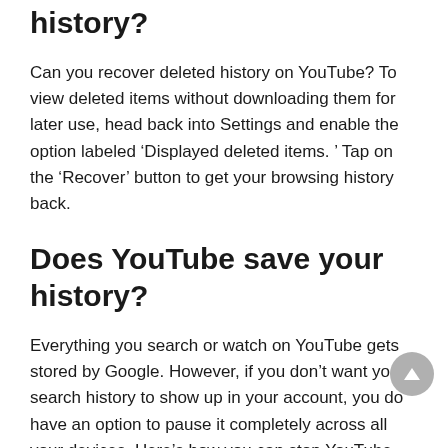history?
Can you recover deleted history on YouTube? To view deleted items without downloading them for later use, head back into Settings and enable the option labeled ‘Displayed deleted items. ’ Tap on the ‘Recover’ button to get your browsing history back.
Does YouTube save your history?
Everything you search or watch on YouTube gets stored by Google. However, if you don’t want your search history to show up in your account, you do have an option to pause it completely across all your devices. Here’s how you can stop YouTube from saving your search history.